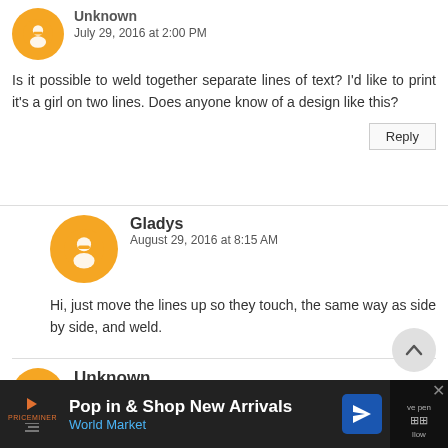Unknown
July 29, 2016 at 2:00 PM
Is it possible to weld together separate lines of text? I'd like to print it's a girl on two lines. Does anyone know of a design like this?
Reply
Gladys
August 29, 2016 at 8:15 AM
Hi, just move the lines up so they touch, the same way as side by side, and weld.
Unknown
August 9, 2016 at 9:42 PM
[Figure (infographic): Advertisement bar: Pop in & Shop New Arrivals - World Market, with arrow icon and close button]